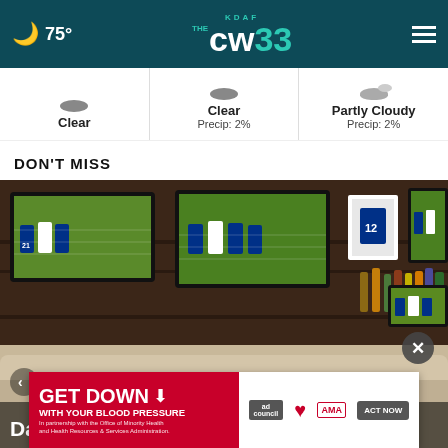🌙 75° | KDAF THE CW 33 | ☰
Clear | Clear Precip: 2% | Partly Cloudy Precip: 2%
DON'T MISS
[Figure (photo): Interior of a sports bar with multiple large flat-screen TVs showing Dallas Cowboys football games, dark wood paneling, booth seating, and a bar area with liquor bottles]
Dallas sports bar offering fantasy
[Figure (infographic): Ad banner: GET DOWN WITH YOUR BLOOD PRESSURE - In partnership with the Office of Minority Health and Health Resources & Services Administration. ACT NOW button. Ad Council, American Heart Association, AMA logos.]